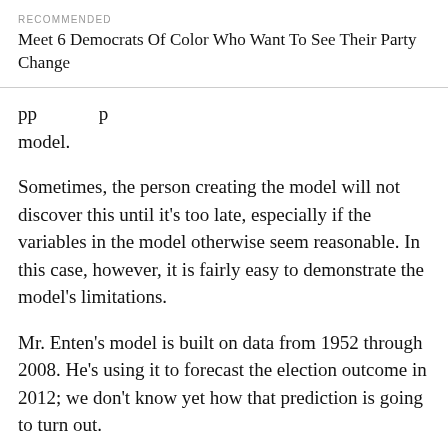RECOMMENDED
Meet 6 Democrats Of Color Who Want To See Their Party Change
…pp… model.
Sometimes, the person creating the model will not discover this until it's too late, especially if the variables in the model otherwise seem reasonable. In this case, however, it is fairly easy to demonstrate the model's limitations.
Mr. Enten's model is built on data from 1952 through 2008. He's using it to forecast the election outcome in 2012; we don't know yet how that prediction is going to turn out.
What we can do, however, is see how the model would have done on a case outside of its sample: 1948. There's not an obvious reason to include 1952…